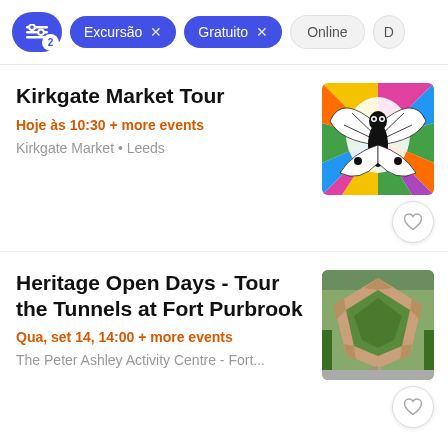Excursão x  Gratuito x  Online  D
Kirkgate Market Tour
Hoje às 10:30 + more events
Kirkgate Market • Leeds
[Figure (illustration): Colorful abstract artwork showing a stylized bird/butterfly with black and white pattern on a background of radiating colored sections: yellow, pink, blue, green, orange, purple]
Heritage Open Days - Tour the Tunnels at Fort Purbrook
Qua, set 14, 14:00 + more events
The Peter Ashley Activity Centre - Fort...
[Figure (photo): Aerial photograph of Fort Purbrook showing a star-shaped green fort structure with earthworks and paths, surrounded by roads and trees]